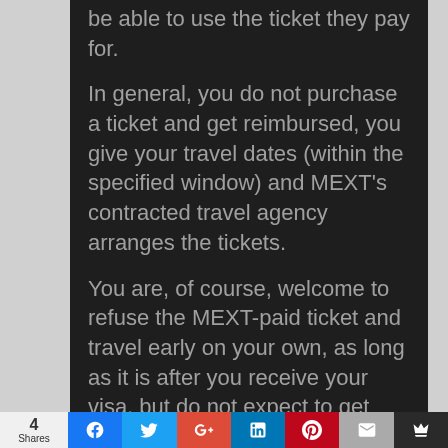be able to use the ticket they pay for. In general, you do not purchase a ticket and get reimbursed, you give your travel dates (within the specified window) and MEXT's contracted travel agency arranges the tickets. You are, of course, welcome to refuse the MEXT-paid ticket and travel early on your own, as long as it is after you receive your visa, but do not expect to get compensated. Usually, you will be asked to arrive in advance for
4 Shares | Facebook | Twitter | Google+ | LinkedIn | Pinterest | Email | Save